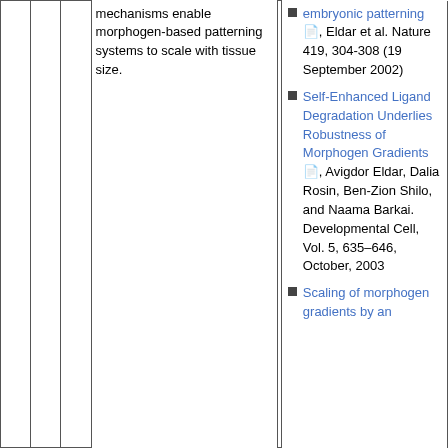mechanisms enable morphogen-based patterning systems to scale with tissue size.
embryonic patterning, Eldar et al. Nature 419, 304-308 (19 September 2002)
Self-Enhanced Ligand Degradation Underlies Robustness of Morphogen Gradients, Avigdor Eldar, Dalia Rosin, Ben-Zion Shilo, and Naama Barkai. Developmental Cell, Vol. 5, 635–646, October, 2003
Scaling of morphogen gradients by an expansion-repression integral feedback control